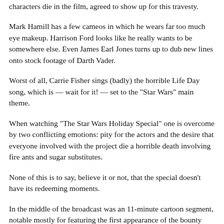characters die in the film, agreed to show up for this travesty.
Mark Hamill has a few cameos in which he wears far too much eye makeup. Harrison Ford looks like he really wants to be somewhere else. Even James Earl Jones turns up to dub new lines onto stock footage of Darth Vader.
Worst of all, Carrie Fisher sings (badly) the horrible Life Day song, which is — wait for it! — set to the "Star Wars" main theme.
When watching "The Star Wars Holiday Special" one is overcome by two conflicting emotions: pity for the actors and the desire that everyone involved with the project die a horrible death involving fire ants and sugar substitutes.
None of this is to say, believe it or not, that the special doesn't have its redeeming moments.
In the middle of the broadcast was an 11-minute cartoon segment, notable mostly for featuring the first appearance of the bounty hunter Boba Fett, who would later play a major role in "The Empire Strikes Back".